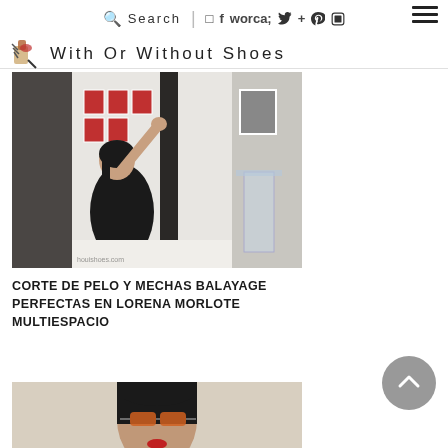Search | social icons | hamburger menu
With Or Without Shoes
[Figure (photo): Woman sitting in hair salon chair, wearing black cape, raising her arm. Interior with framed photos on wall and glass furniture visible.]
CORTE DE PELO Y MECHAS BALAYAGE PERFECTAS EN LORENA MORLOTE MULTIESPACIO
[Figure (photo): Woman with long dark hair wearing orange sunglasses outdoors.]